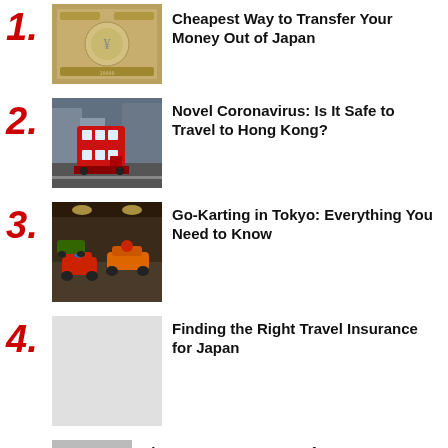1. Cheapest Way to Transfer Your Money Out of Japan
2. Novel Coronavirus: Is It Safe to Travel to Hong Kong?
3. Go-Karting in Tokyo: Everything You Need to Know
4. Finding the Right Travel Insurance for Japan
5. The Best Ways to Transfer Money...